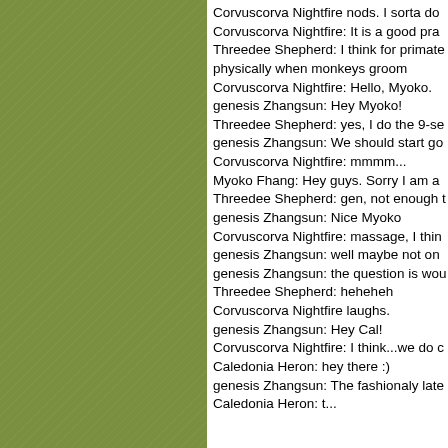[Figure (other): Olive green textured background panel on the left side of the page]
Corvuscorva Nightfire nods. I sorta do
Corvuscorva Nightfire: It is a good pra
Threedee Shepherd: I think for primate
physically when monkeys groom
Corvuscorva Nightfire: Hello, Myoko.
genesis Zhangsun: Hey Myoko!
Threedee Shepherd: yes, I do the 9-se
genesis Zhangsun: We should start go
Corvuscorva Nightfire: mmmm...
Myoko Fhang: Hey guys. Sorry I am a
Threedee Shepherd: gen, not enough
genesis Zhangsun: Nice Myoko
Corvuscorva Nightfire: massage, I thin
genesis Zhangsun: well maybe not on
genesis Zhangsun: the question is wou
Threedee Shepherd: heheheh
Corvuscorva Nightfire laughs.
genesis Zhangsun: Hey Cal!
Corvuscorva Nightfire: I think...we do c
Caledonia Heron: hey there :)
genesis Zhangsun: The fashionaly late
Caledonia Heron: t...